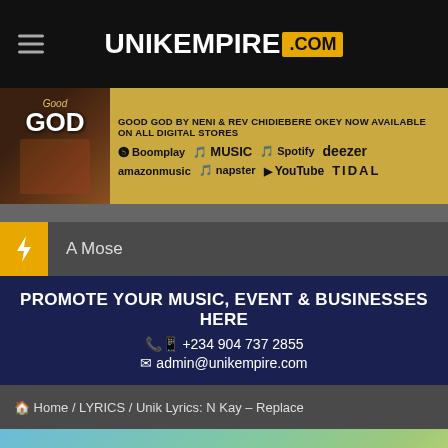UNIKEMPIRE .COM
[Figure (infographic): Advertisement banner: Good God by Neni & Rev Chidiebere Okey now available on all digital stores — Boomplay, Apple Music, Spotify, Deezer, Amazon Music, Napster, YouTube, Tidal]
A Mose
PROMOTE YOUR MUSIC, EVENT & BUSINESSES HERE
+234 904 737 2855
admin@unikempire.com
Home / LYRICS / Unik Lyrics: N Kay – Replace
[Figure (infographic): Advertise Your Business Here! Contact Us Now button]